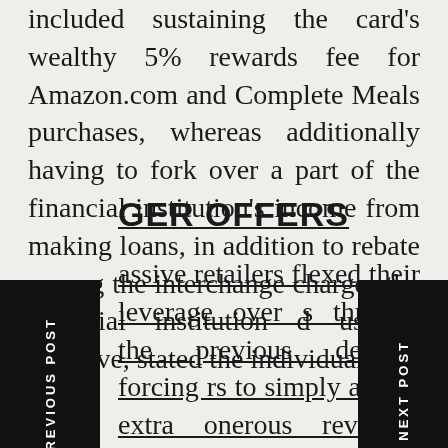included sustaining the card's wealthy 5% rewards fee for Amazon.com and Complete Meals purchases, whereas additionally having to fork over a part of the financial institution's income from making loans, in addition to rebate among the interchange charges the financial institution d usually preserve, stated the individuals.
GER OFFERS
assive retailers flexed their leverage over s through the previous decade, forcing rs to simply accept extra onerous revenue-share phrases and supply richer rewards, the offers have grown longer in length. What had usually been five-year contracts have stretched into seven- and ten-year offers, and even longer, in keeping with trade members, giving the banks a greater likelihood at being profitable on the